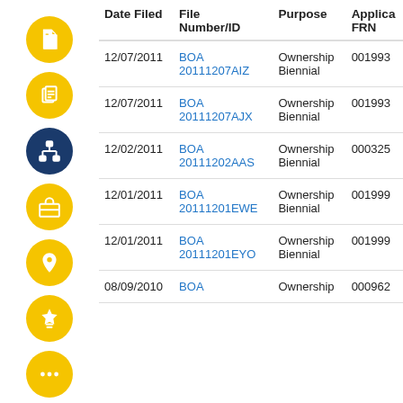| Date Filed | File Number/ID | Purpose | Applica FRN |
| --- | --- | --- | --- |
| 12/07/2011 | BOA 20111207AIZ | Ownership Biennial | 001993 |
| 12/07/2011 | BOA 20111207AJX | Ownership Biennial | 001993 |
| 12/02/2011 | BOA 20111202AAS | Ownership Biennial | 000325 |
| 12/01/2011 | BOA 20111201EWE | Ownership Biennial | 001999 |
| 12/01/2011 | BOA 20111201EYO | Ownership Biennial | 001999 |
| 08/09/2010 | BOA | Ownership | 000962 |